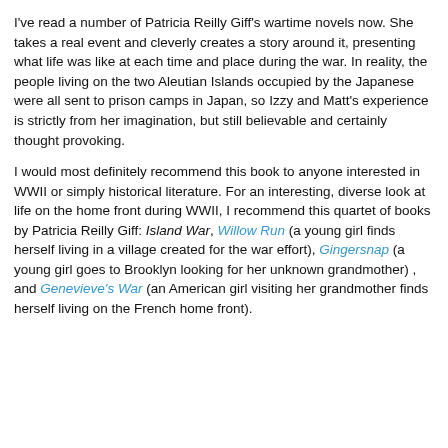work together, and even begin to caring about one another, becoming more likable to the reader.
I've read a number of Patricia Reilly Giff's wartime novels now. She takes a real event and cleverly creates a story around it, presenting what life was like at each time and place during the war. In reality, the people living on the two Aleutian Islands occupied by the Japanese were all sent to prison camps in Japan, so Izzy and Matt's experience is strictly from her imagination, but still believable and certainly thought provoking.
I would most definitely recommend this book to anyone interested in WWII or simply historical literature. For an interesting, diverse look at life on the home front during WWII, I recommend this quartet of books by Patricia Reilly Giff: Island War, Willow Run (a young girl finds herself living in a village created for the war effort), Gingersnap (a young girl goes to Brooklyn looking for her unknown grandmother) , and Genevieve's War (an American girl visiting her grandmother finds herself living on the French home front).